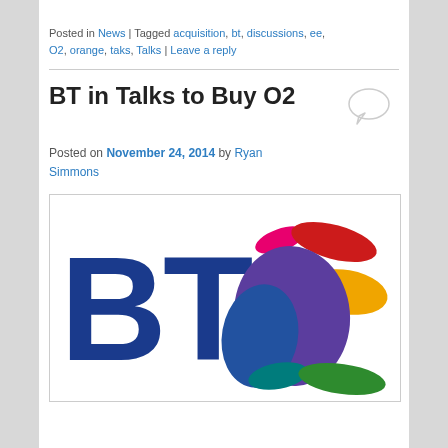Posted in News | Tagged acquisition, bt, discussions, ee, O2, orange, taks, Talks | Leave a reply
BT in Talks to Buy O2
Posted on November 24, 2014 by Ryan Simmons
[Figure (logo): BT logo with colourful sphere graphic consisting of overlapping coloured ellipses in pink, red, yellow, purple, blue, teal and green, with large blue BT lettering on the left]